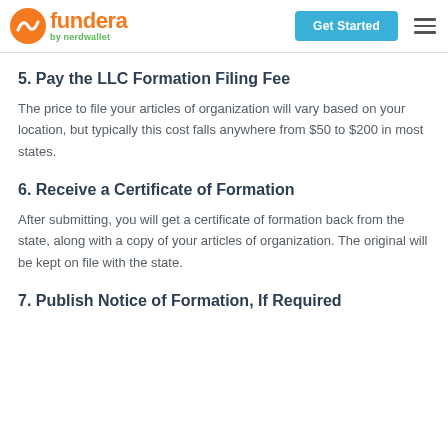fundera by nerdwallet | Get Started
5. Pay the LLC Formation Filing Fee
The price to file your articles of organization will vary based on your location, but typically this cost falls anywhere from $50 to $200 in most states.
6. Receive a Certificate of Formation
After submitting, you will get a certificate of formation back from the state, along with a copy of your articles of organization. The original will be kept on file with the state.
7. Publish Notice of Formation, If Required